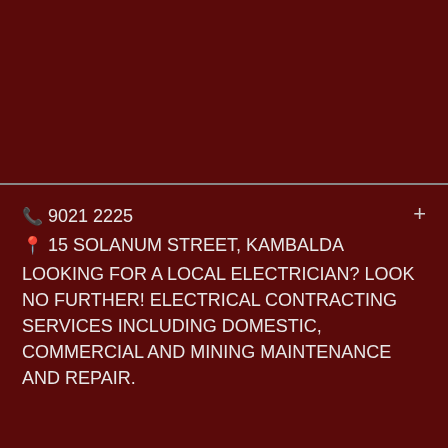[Figure (other): Dark maroon top banner block]
📞 9021 2225
📍 15 SOLANUM STREET, KAMBALDA
LOOKING FOR A LOCAL ELECTRICIAN? LOOK NO FURTHER! ELECTRICAL CONTRACTING SERVICES INCLUDING DOMESTIC, COMMERCIAL AND MINING MAINTENANCE AND REPAIR.